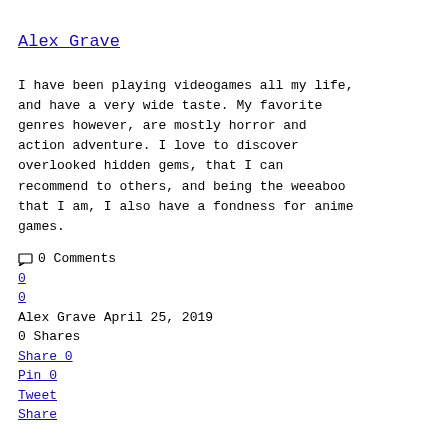Alex Grave
I have been playing videogames all my life, and have a very wide taste. My favorite genres however, are mostly horror and action adventure. I love to discover overlooked hidden gems, that I can recommend to others, and being the weeaboo that I am, I also have a fondness for anime games.
0 Comments
0
0
Alex Grave April 25, 2019
0 Shares
Share 0
Pin 0
Tweet
Share